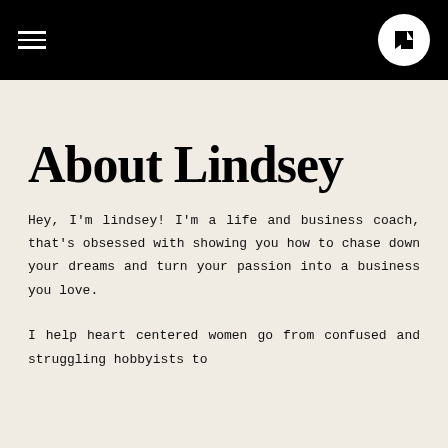Navigation header with hamburger menu and logo
About Lindsey
Hey, I'm lindsey! I'm a life and business coach, that's obsessed with showing you how to chase down your dreams and turn your passion into a business you love.
I help heart centered women go from confused and struggling hobbyists to